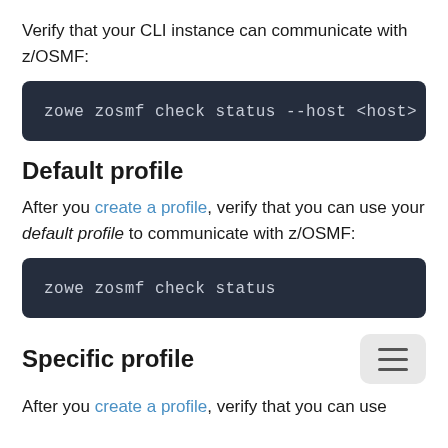Verify that your CLI instance can communicate with z/OSMF:
zowe zosmf check status --host <host> --por
Default profile
After you create a profile, verify that you can use your default profile to communicate with z/OSMF:
zowe zosmf check status
Specific profile
After you create a profile, verify that you can use